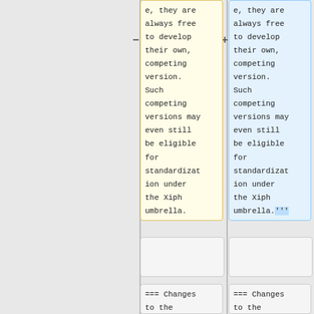e, they are always free to develop their own, competing version. Such competing versions may even still be eligible for standardization under the Xiph umbrella.
e, they are always free to develop their own, competing version. Such competing versions may even still be eligible for standardization under the Xiph umbrella.'''
=== Changes to the formal
=== Changes to the formal